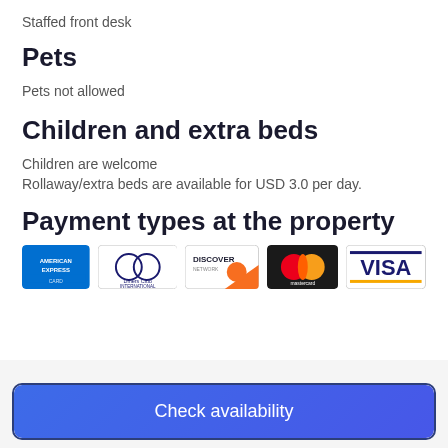Staffed front desk
Pets
Pets not allowed
Children and extra beds
Children are welcome
Rollaway/extra beds are available for USD 3.0 per day.
Payment types at the property
[Figure (illustration): Payment card logos: American Express, Diners Club International, Discover Network, Mastercard, Visa]
Check availability